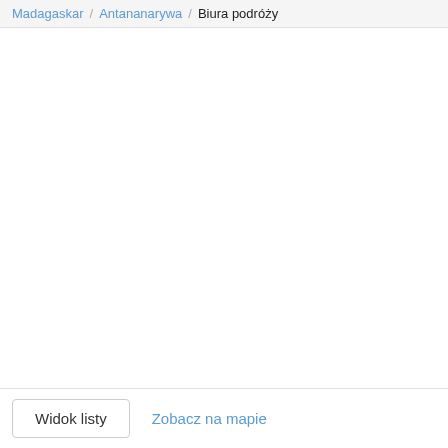Madagaskar / Antananarywa / Biura podróży
Widok listy
Zobacz na mapie